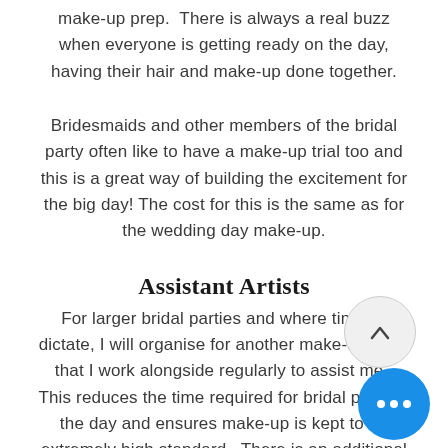make-up prep.  There is always a real buzz when everyone is getting ready on the day, having their hair and make-up done together.
Bridesmaids and other members of the bridal party often like to have a make-up trial too and this is a great way of building the excitement for the big day! The cost for this is the same as for the wedding day make-up.
Assistant Artists
For larger bridal parties and where timings dictate, I will organise for another make-up artist that I work alongside regularly to assist me.  This reduces the time required for bridal prep on the day and ensures make-up is kept to an extremely high standard.  There is an additional charge